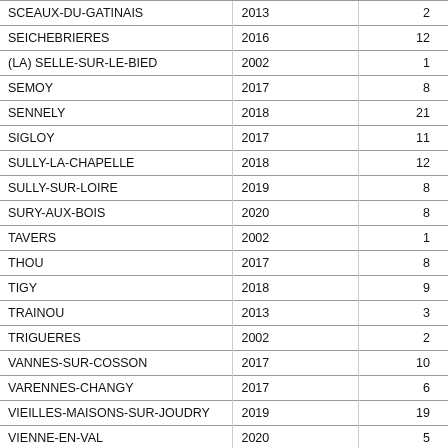| SCEAUX-DU-GATINAIS | 2013 | 2 |
| SEICHEBRIERES | 2016 | 12 |
| (LA) SELLE-SUR-LE-BIED | 2002 | 1 |
| SEMOY | 2017 | 8 |
| SENNELY | 2018 | 21 |
| SIGLOY | 2017 | 11 |
| SULLY-LA-CHAPELLE | 2018 | 12 |
| SULLY-SUR-LOIRE | 2019 | 8 |
| SURY-AUX-BOIS | 2020 | 8 |
| TAVERS | 2002 | 1 |
| THOU | 2017 | 8 |
| TIGY | 2018 | 9 |
| TRAINOU | 2013 | 3 |
| TRIGUERES | 2002 | 2 |
| VANNES-SUR-COSSON | 2017 | 10 |
| VARENNES-CHANGY | 2017 | 6 |
| VIEILLES-MAISONS-SUR-JOUDRY | 2019 | 19 |
| VIENNE-EN-VAL | 2020 | 5 |
| VIGLAIN | 2016 | 10 |
| VILLEMANDEUR | 2019 | 9 |